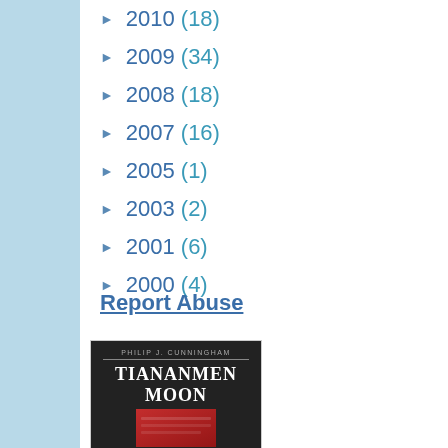► 2010 (18)
► 2009 (34)
► 2008 (18)
► 2007 (16)
► 2005 (1)
► 2003 (2)
► 2001 (6)
► 2000 (4)
Report Abuse
[Figure (photo): Book cover of 'Tiananmen Moon' by Philip J. Cunningham, black cover with title in white serif font and an image at the bottom]